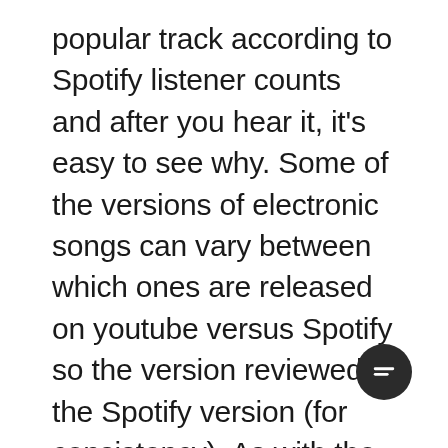popular track according to Spotify listener counts and after you hear it, it's easy to see why. Some of the versions of electronic songs can vary between which ones are released on youtube versus Spotify so the version reviewed is the Spotify version (for consistency). As with the others, Com Truise does a great job bringing us in with a heavy, rolling beat and vintage sound effects coming from each direction. Occasionally the cadence will change and the beat will soften, but the main melody remains pretty consistent throughout. This track is another example of when Haley took risks with Com Truise. The result is a perfect orchestrated track that slowly deve over its three minutes. Even though the